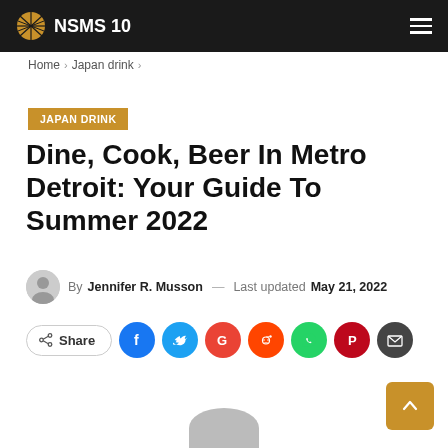NSMS 10
Home > Japan drink >
JAPAN DRINK
Dine, Cook, Beer In Metro Detroit: Your Guide To Summer 2022
By Jennifer R. Musson — Last updated May 21, 2022
Share